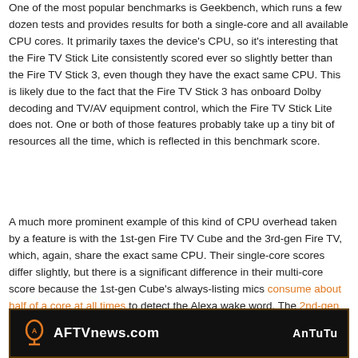One of the most popular benchmarks is Geekbench, which runs a few dozen tests and provides results for both a single-core and all available CPU cores. It primarily taxes the device's CPU, so it's interesting that the Fire TV Stick Lite consistently scored ever so slightly better than the Fire TV Stick 3, even though they have the exact same CPU. This is likely due to the fact that the Fire TV Stick 3 has onboard Dolby decoding and TV/AV equipment control, which the Fire TV Stick Lite does not. One or both of those features probably take up a tiny bit of resources all the time, which is reflected in this benchmark score.
A much more prominent example of this kind of CPU overhead taken by a feature is with the 1st-gen Fire TV Cube and the 3rd-gen Fire TV, which, again, share the exact same CPU. Their single-core scores differ slightly, but there is a significant difference in their multi-core score because the 1st-gen Cube's always-listing mics consume about half of a core at all times to detect the Alexa wake word. The 2nd-gen Fire TV Cube has a similar overhead requirement, but its powerful 6-cores have plenty of processing power to spare.
[Figure (photo): Bottom strip showing AFTVnews.com logo on dark background with AnTuTu branding on the right side]